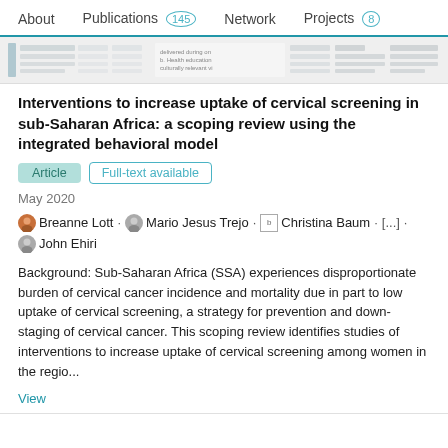About   Publications 145   Network   Projects 8
[Figure (screenshot): Thumbnail strip showing partial document/table preview with text 'delivered during on', 'b. Health education', 'culturally relevant vi']
Interventions to increase uptake of cervical screening in sub-Saharan Africa: a scoping review using the integrated behavioral model
Article   Full-text available
May 2020
Breanne Lott . Mario Jesus Trejo . Christina Baum . [...] . John Ehiri
Background: Sub-Saharan Africa (SSA) experiences disproportionate burden of cervical cancer incidence and mortality due in part to low uptake of cervical screening, a strategy for prevention and down-staging of cervical cancer. This scoping review identifies studies of interventions to increase uptake of cervical screening among women in the regio...
View